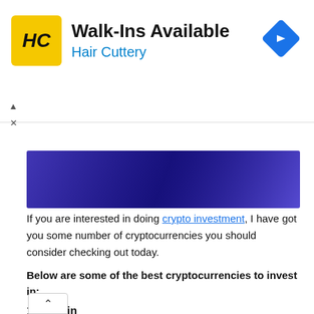[Figure (illustration): Hair Cuttery advertisement banner with yellow HC logo on left, 'Walk-Ins Available' headline in bold black, 'Hair Cuttery' in blue text, and blue diamond navigation arrow icon on right]
[Figure (illustration): Dark blue/purple gradient banner image partially visible with a white rounded chevron-up tab on left edge]
If you are interested in doing crypto investment, I have got you some number of cryptocurrencies you should consider checking out today.
Below are some of the best cryptocurrencies to invest in:
1. Bitcoin
This is the very first cryptocurrency introduced by Satoshi Nakamoto since 2008.
Bitcoin saw a huge spike in price in 2016, where it grew from